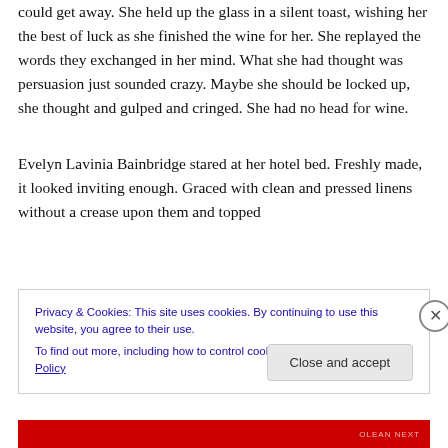could get away. She held up the glass in a silent toast, wishing her the best of luck as she finished the wine for her. She replayed the words they exchanged in her mind. What she had thought was persuasion just sounded crazy. Maybe she should be locked up, she thought and gulped and cringed. She had no head for wine.
Evelyn Lavinia Bainbridge stared at her hotel bed. Freshly made, it looked inviting enough. Graced with clean and pressed linens without a crease upon them and topped
Privacy & Cookies: This site uses cookies. By continuing to use this website, you agree to their use.
To find out more, including how to control cookies, see here: Cookie Policy